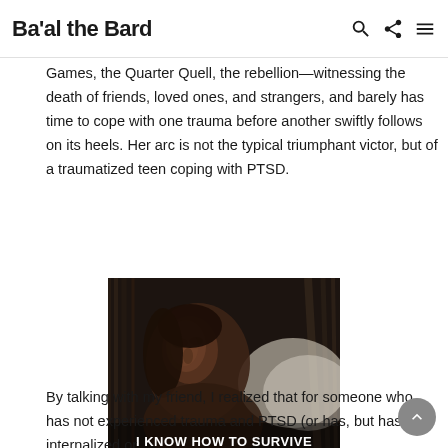Ba'al the Bard
Games, the Quarter Quell, the rebellion—witnessing the death of friends, loved ones, and strangers, and barely has time to cope with one trauma before another swiftly follows on its heels. Her arc is not the typical triumphant victor, but of a traumatized teen coping with PTSD.
[Figure (photo): Movie still of a young woman lying down in a dark, dimly lit setting. White subtitle text reads: I KNOW HOW TO SURVIVE]
By talking with my friend, I realized that for someone who has not experienced trauma and PTSD (or has, but has not internalized or examined that experience at length), it would seem as though